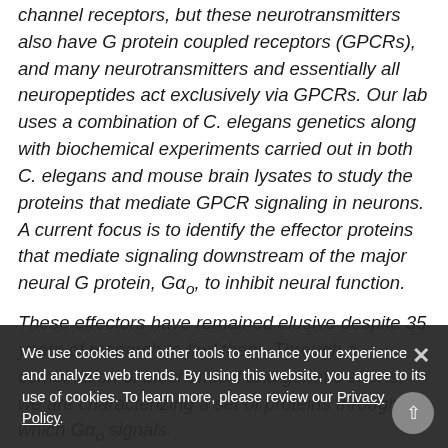channel receptors, but these neurotransmitters also have G protein coupled receptors (GPCRs), and many neurotransmitters and essentially all neuropeptides act exclusively via GPCRs. Our lab uses a combination of C. elegans genetics along with biochemical experiments carried out in both C. elegans and mouse brain lysates to study the proteins that mediate GPCR signaling in neurons. A current focus is to identify the effector proteins that mediate signaling downstream of the major neural G protein, Gα₀, to inhibit neural function.
These effectors have remained elusive despite 35 years of research to find them. Through a combination of biochemical and genetic efforts, we are characterizing a set of proteins through which Gα₀ signals.
We use cookies and other tools to enhance your experience and analyze web trends. By using this website, you agree to its use of cookies. To learn more, please review our Privacy Policy.